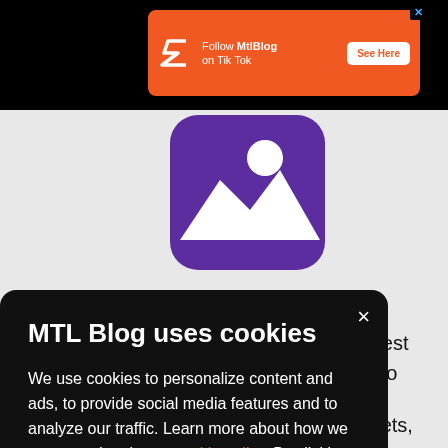[Figure (screenshot): Orange advertisement banner for MtlBlog TikTok with logo, text 'Follow MtlBlog on Tik Tok', and 'See Here' button]
[Figure (screenshot): Purple app icon with white mountain/landscape graphic visible partially behind modal]
MTL Blog uses cookies
We use cookies to personalize content and ads, to provide social media features and to analyze our traffic. Learn more about how we use your data in our cookie policy. By clicking Accept, you allow us to use cookies to give you the best experience on site.
e best
ey to
h.
it gets,
nk more,
our
[Figure (screenshot): Orange Accept button inside cookie consent modal]